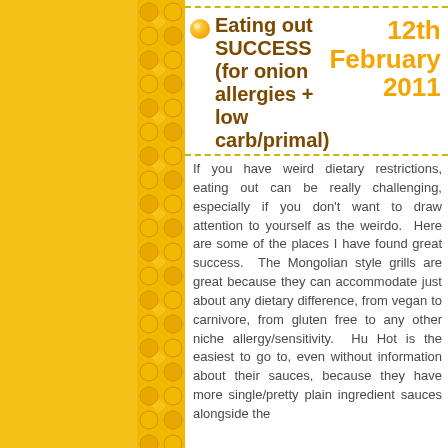Eating out SUCCESS (for onion allergies + low carb/primal)
12th February 2011
If you have weird dietary restrictions, eating out can be really challenging, especially if you don't want to draw attention to yourself as the weirdo.  Here are some of the places I have found great success.  The Mongolian style grills are great because they can accommodate just about any dietary difference, from vegan to carnivore, from gluten free to any other niche allergy/sensitivity.  Hu Hot is the easiest to go to, even without information about their sauces, because they have more single/pretty plain ingredient sauces alongside the